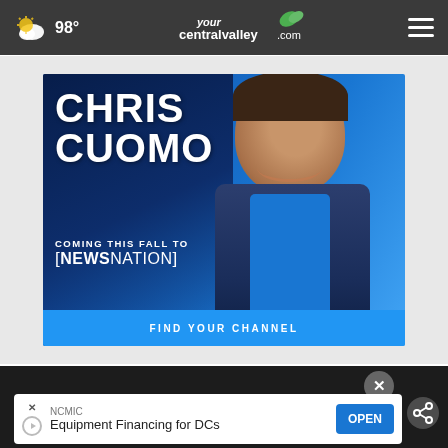98° — yourcentralvalley.com — hamburger menu
[Figure (photo): Advertisement banner for Chris Cuomo coming this fall to NewsNation, with photo of Chris Cuomo, blue background, and 'Find Your Channel' footer button]
YourCentralValley.com Video
[Figure (screenshot): Bottom advertisement: NCMIC — Equipment Financing for DCs — OPEN button, with X and play icon controls, and a share icon on the right]